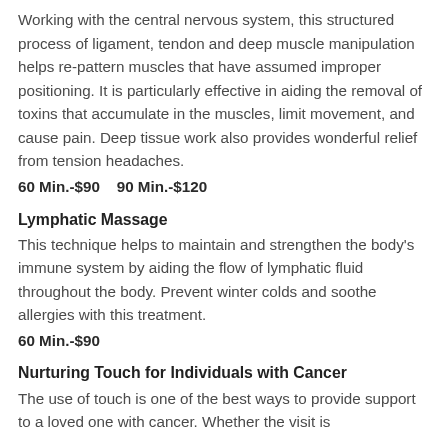Working with the central nervous system, this structured process of ligament, tendon and deep muscle manipulation helps re-pattern muscles that have assumed improper positioning. It is particularly effective in aiding the removal of toxins that accumulate in the muscles, limit movement, and cause pain. Deep tissue work also provides wonderful relief from tension headaches.
60 Min.-$90    90 Min.-$120
Lymphatic Massage
This technique helps to maintain and strengthen the body's immune system by aiding the flow of lymphatic fluid throughout the body. Prevent winter colds and soothe allergies with this treatment.
60 Min.-$90
Nurturing Touch for Individuals with Cancer
The use of touch is one of the best ways to provide support to a loved one with cancer. Whether the visit is